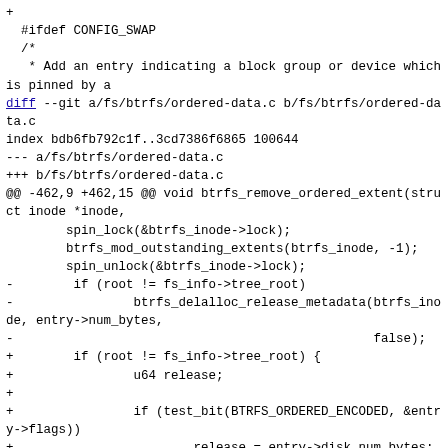Code diff showing changes to fs/btrfs/ordered-data.c including #ifdef CONFIG_SWAP block and btrfs_remove_ordered_extent function modifications with new if-block for BTRFS_ORDERED_ENCODED test.